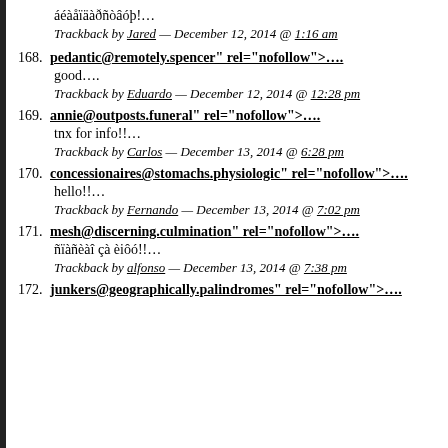áéàåïäàðñòâóþ!…
Trackback by Jared — December 12, 2014 @ 1:16 am
168. pedantic@remotely.spencer" rel="nofollow">….
good….
Trackback by Eduardo — December 12, 2014 @ 12:28 pm
169. annie@outposts.funeral" rel="nofollow">….
tnx for info!!…
Trackback by Carlos — December 13, 2014 @ 6:28 pm
170. concessionaires@stomachs.physiologic" rel="nofollow">….
hello!!…
Trackback by Fernando — December 13, 2014 @ 7:02 pm
171. mesh@discerning.culmination" rel="nofollow">….
ñïàñèàî çà èiôó!!…
Trackback by alfonso — December 13, 2014 @ 7:38 pm
172. junkers@geographically.palindromes" rel="nofollow">….